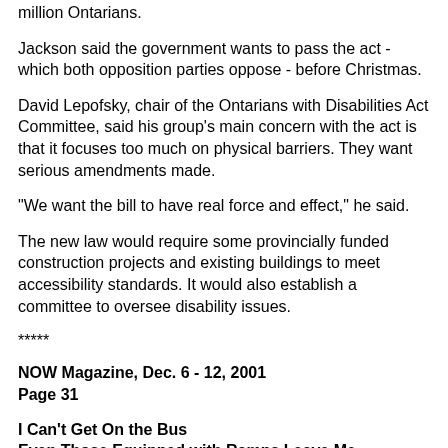million Ontarians.
Jackson said the government wants to pass the act - which both opposition parties oppose - before Christmas.
David Lepofsky, chair of the Ontarians with Disabilities Act Committee, said his group's main concern with the act is that it focuses too much on physical barriers. They want serious amendments made.
"We want the bill to have real force and effect," he said.
The new law would require some provincially funded construction projects and existing buildings to meet accessibility standards. It would also establish a committee to oversee disability issues.
*****
NOW Magazine, Dec. 6 - 12, 2001
Page 31
I Can't Get On the Bus
Even Those Equipped with Ramps Leave Me